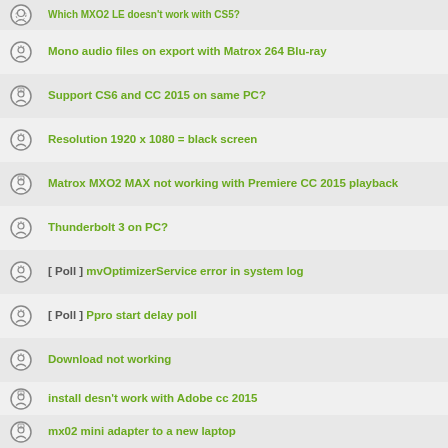Mono audio files on export with Matrox 264 Blu-ray
Support CS6 and CC 2015 on same PC?
Resolution 1920 x 1080 = black screen
Matrox MXO2 MAX not working with Premiere CC 2015 playback
Thunderbolt 3 on PC?
[ Poll ] mvOptimizerService error in system log
[ Poll ] Ppro start delay poll
Download not working
install desn't work with Adobe cc 2015
mx02 mini adapter to a new laptop